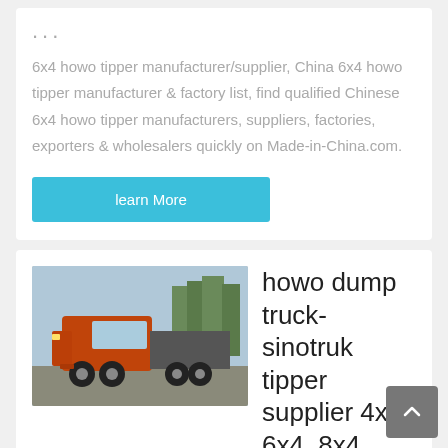...
6x4 howo tipper manufacturer/supplier, China 6x4 howo tipper manufacturer & factory list, find qualified Chinese 6x4 howo tipper manufacturers, suppliers, factories, exporters & wholesalers quickly on Made-in-China.com.
learn More
[Figure (photo): Orange howo dump truck / tractor truck parked outdoors]
howo dump truck-sinotruk tipper supplier 4x2, 6x4, 8x4
...